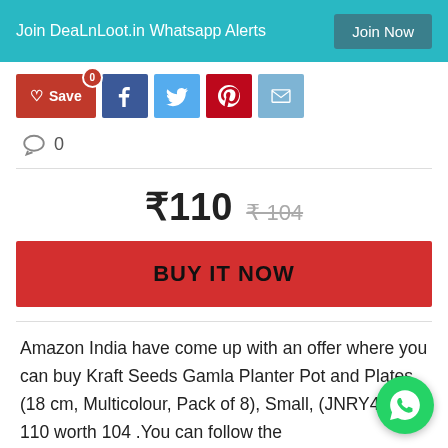Join DeaLnLoot.in Whatsapp Alerts  Join Now
♡ Save 0
💬 0
₹110  ₹ 104
BUY IT NOW
Amazon India have come up with an offer where you can buy Kraft Seeds Gamla Planter Pot and Plates (18 cm, Multicolour, Pack of 8), Small, (JNRY44) at 110 worth 104 .You can follow the